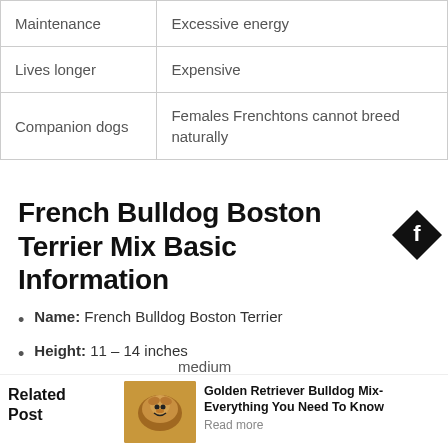| Maintenance | Excessive energy |
| Lives longer | Expensive |
| Companion dogs | Females Frenchtons cannot breed naturally |
French Bulldog Boston Terrier Mix Basic Information
Name: French Bulldog Boston Terrier
Height: 11 – 14 inches
Weight: 15 – 25 pounds
medium
Related Post
[Figure (photo): Golden Retriever dog photo]
Golden Retriever Bulldog Mix- Everything You Need To Know
Read more